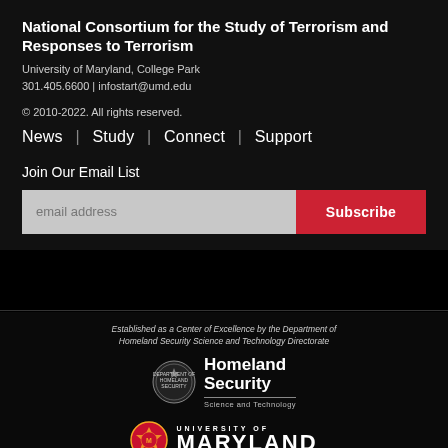National Consortium for the Study of Terrorism and Responses to Terrorism
University of Maryland, College Park
301.405.6600 | infostart@umd.edu
© 2010-2022. All rights reserved.
News | Study | Connect | Support
Join Our Email List
email address  Subscribe
[Figure (logo): Department of Homeland Security Science and Technology logo with circular seal and text 'Homeland Security Science and Technology']
Established as a Center of Excellence by the Department of Homeland Security Science and Technology Directorate
[Figure (logo): University of Maryland logo with shield seal and text 'UNIVERSITY OF MARYLAND']